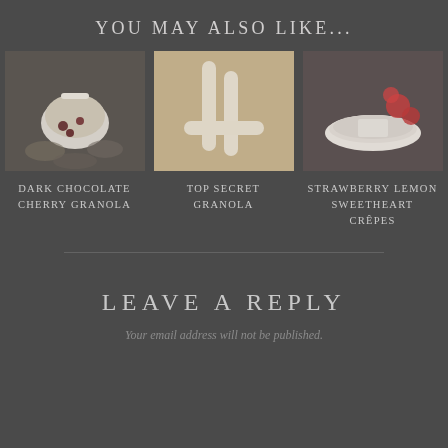YOU MAY ALSO LIKE...
[Figure (photo): Dark chocolate cherry granola in a white bowl with scattered ingredients]
DARK CHOCOLATE CHERRY GRANOLA
[Figure (photo): Top secret granola with wooden spoons on a flat surface]
TOP SECRET GRANOLA
[Figure (photo): Strawberry lemon sweetheart crêpes on a plate with strawberries]
STRAWBERRY LEMON SWEETHEART CRÊPES
LEAVE A REPLY
Your email address will not be published.